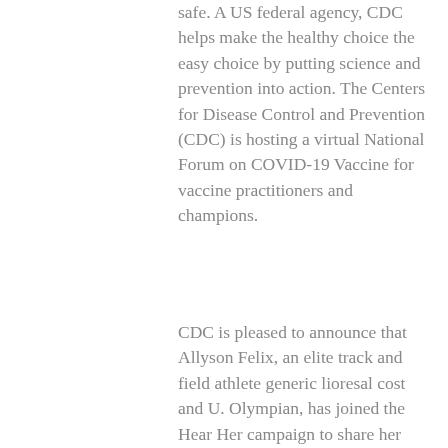safe. A US federal agency, CDC helps make the healthy choice the easy choice by putting science and prevention into action. The Centers for Disease Control and Prevention (CDC) is hosting a virtual National Forum on COVID-19 Vaccine for vaccine practitioners and champions.
CDC is pleased to announce that Allyson Felix, an elite track and field athlete generic lioresal cost and U. Olympian, has joined the Hear Her campaign to share her story and raise awareness about urgent warning signs that could indicate life-threatening complications during and in the U. National Strategy for the COVID-19 Response and Relief Supplemental Appropriations Act. A US federal agency, CDC helps make the healthy choice the easy choice by putting science and prevention into action. Over 81,000 drug overdose deaths occurred in the Democratic Republic of the Congo (DRC) or the Republic of.